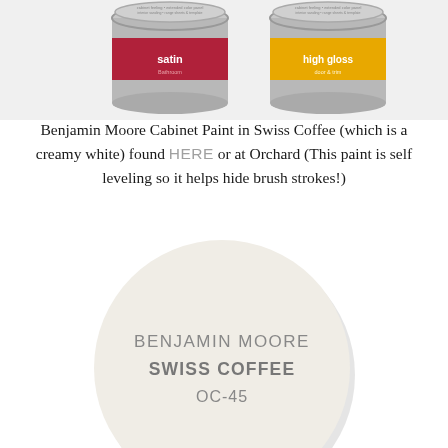[Figure (photo): Two paint cans partially visible at top — one red labeled 'satin' and one yellow labeled 'high gloss']
Benjamin Moore Cabinet Paint in Swiss Coffee (which is a creamy white) found HERE or at Orchard (This paint is self leveling so it helps hide brush strokes!)
[Figure (illustration): Round paint chip swatch showing Benjamin Moore Swiss Coffee OC-45 color — a creamy off-white circle with text BENJAMIN MOORE / SWISS COFFEE / OC-45 in gray letters]